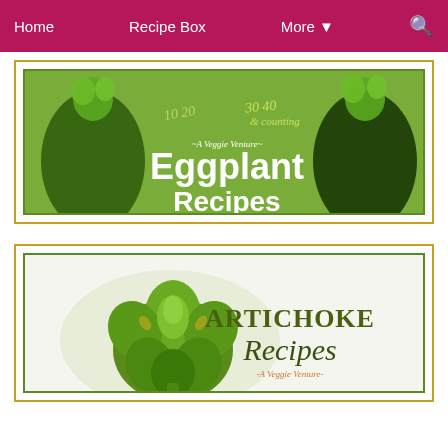Home   Recipe Box   More ▼   🔍
[Figure (illustration): Eggplant Recipes banner image from A Veggie Venture — green background with eggplants on each side, handwritten numbers '10 20 30 40 & counting', large white bold text 'Eggplant Recipes']
[Figure (illustration): Artichoke Recipes banner from A Veggie Venture — white/light background with a green artichoke on left, dark olive-green serif text 'ARTICHOKE Recipes' and orange script '-A Veggie Venture-']